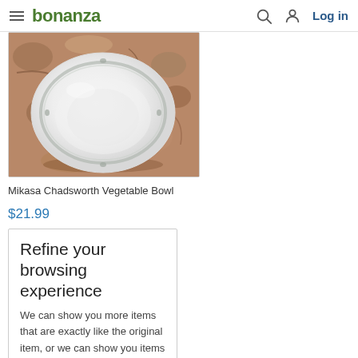bonanza — Log in
[Figure (photo): A white Mikasa Chadsworth vegetable bowl photographed from above on a granite/marble countertop surface. The bowl has a decorative silver/grey leaf/vine border pattern around the rim.]
Mikasa Chadsworth Vegetable Bowl
$21.99
Refine your browsing experience
We can show you more items that are exactly like the original item, or we can show you items that are